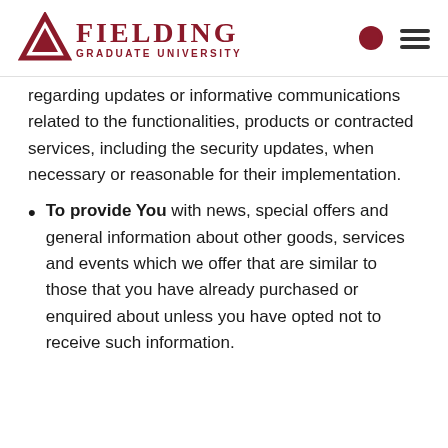Fielding Graduate University
regarding updates or informative communications related to the functionalities, products or contracted services, including the security updates, when necessary or reasonable for their implementation.
To provide You with news, special offers and general information about other goods, services and events which we offer that are similar to those that you have already purchased or enquired about unless you have opted not to receive such information.